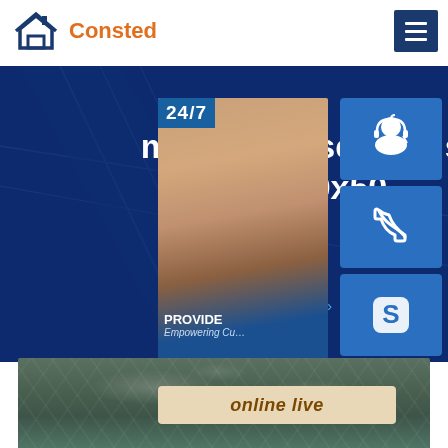[Figure (logo): Consted logo with house icon in dark blue and orange text]
[Figure (screenshot): Navigation hamburger menu icon on dark blue background]
ms hollow section square 50x50
Home » AH36 steel
[Figure (photo): Customer support representative with 24/7 label, PROVIDE Empowering Customers text, and online live button with phone and Skype icons]
[Figure (photo): Metal surface texture photo showing steel material]